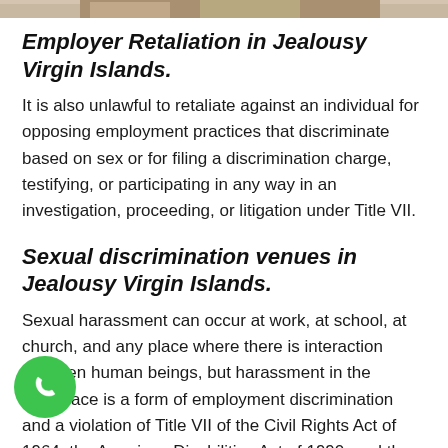[Figure (photo): Partial photo strip of people at the top of the page]
Employer Retaliation in Jealousy Virgin Islands.
It is also unlawful to retaliate against an individual for opposing employment practices that discriminate based on sex or for filing a discrimination charge, testifying, or participating in any way in an investigation, proceeding, or litigation under Title VII.
Sexual discrimination venues in Jealousy Virgin Islands.
Sexual harassment can occur at work, at school, at church, and any place where there is interaction between human beings, but harassment in the workplace is a form of employment discrimination and a violation of Title VII of the Civil Rights Act of 1964, the American Disabilities Act of 1990, and the Age Discrimination in Employment Act of 1967. Sexual discrimination is when someone is
[Figure (illustration): Green circular phone/call button in the bottom left corner]